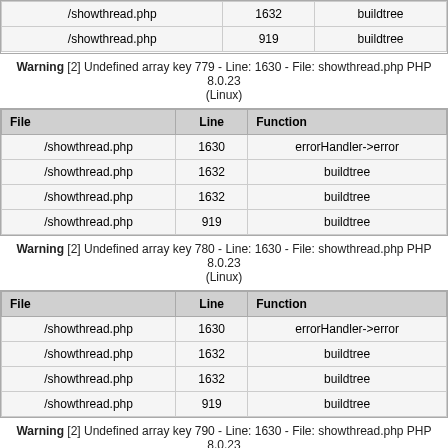| File | Line | Function |
| --- | --- | --- |
| /showthread.php | 1632 | buildtree |
| /showthread.php | 919 | buildtree |
Warning [2] Undefined array key 779 - Line: 1630 - File: showthread.php PHP 8.0.23 (Linux)
| File | Line | Function |
| --- | --- | --- |
| /showthread.php | 1630 | errorHandler->error |
| /showthread.php | 1632 | buildtree |
| /showthread.php | 1632 | buildtree |
| /showthread.php | 919 | buildtree |
Warning [2] Undefined array key 780 - Line: 1630 - File: showthread.php PHP 8.0.23 (Linux)
| File | Line | Function |
| --- | --- | --- |
| /showthread.php | 1630 | errorHandler->error |
| /showthread.php | 1632 | buildtree |
| /showthread.php | 1632 | buildtree |
| /showthread.php | 919 | buildtree |
Warning [2] Undefined array key 790 - Line: 1630 - File: showthread.php PHP 8.0.23 (Linux)